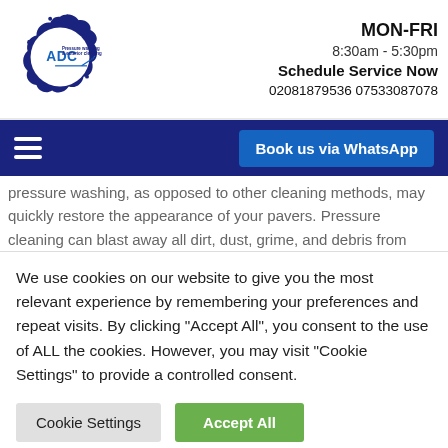[Figure (logo): ADC Pressure washing & exterior cleaning logo — blue inkblot/gear circle with 'ADC' text and tagline, pressure washer gun illustration]
MON-FRI
8:30am - 5:30pm
Schedule Service Now
02081879536 07533087078
[Figure (other): Navigation bar with hamburger menu icon and 'Book us via WhatsApp' button on dark navy background]
pressure washing, as opposed to other cleaning methods, may quickly restore the appearance of your pavers. Pressure cleaning can blast away all dirt, dust, grime, and debris from
We use cookies on our website to give you the most relevant experience by remembering your preferences and repeat visits. By clicking "Accept All", you consent to the use of ALL the cookies. However, you may visit "Cookie Settings" to provide a controlled consent.
Cookie Settings   Accept All